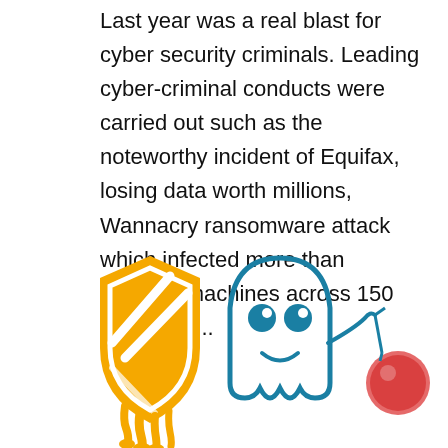Last year was a real blast for cyber security criminals. Leading cyber-criminal conducts were carried out such as the noteworthy incident of Equifax, losing data worth millions, Wannacry ransomware attack which infected more than 400,000 machines across 150 countries,...
[Figure (illustration): Two cybersecurity-related mascot illustrations: on the left, an orange Meltdown-style shield logo with diagonal stripes and a dripping/melting bottom effect; on the right, a teal/blue Spectre ghost character with round eyes and a slight smile, holding a small branch with a red ball/cherry.]